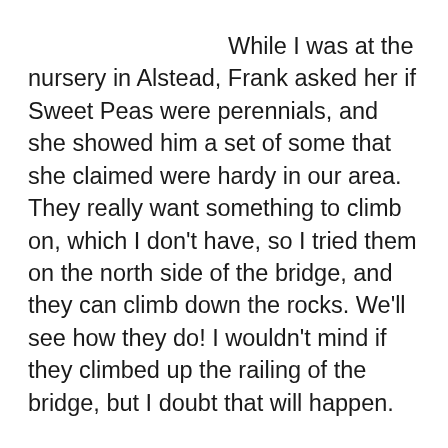While I was at the nursery in Alstead, Frank asked her if Sweet Peas were perennials, and she showed him a set of some that she claimed were hardy in our area. They really want something to climb on, which I don't have, so I tried them on the north side of the bridge, and they can climb down the rocks. We'll see how they do! I wouldn't mind if they climbed up the railing of the bridge, but I doubt that will happen.
Window box update: The upstairs balcony boxes are not coming along as nicely as the ones on the first floor. But the lantana are just starting to bloom.